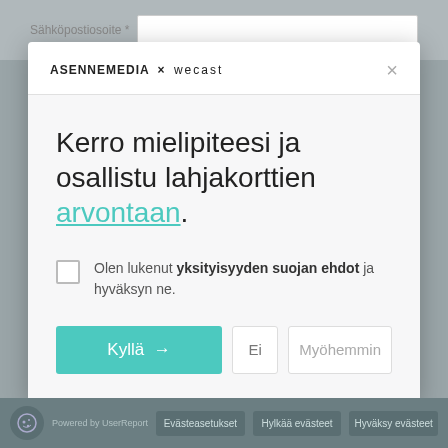[Figure (screenshot): Modal dialog with ASENNEMEDIA X wecast logo header, close button, title text with teal hyperlink, checkbox for privacy terms, and three action buttons (Kyllä, Ei, Myöhemmin). Background shows a dimmed web page with a cookie consent bar at the bottom.]
Kerro mielipiteesi ja osallistu lahjakorttien arvontaan.
Olen lukenut yksityisyyden suojan ehdot ja hyväksyn ne.